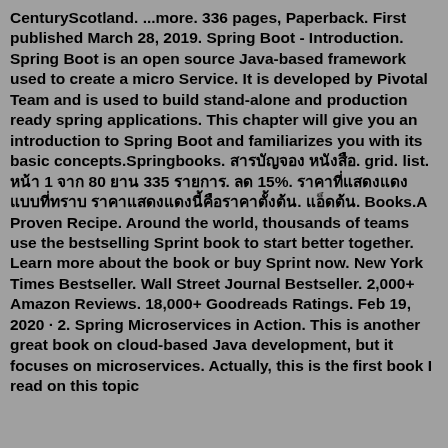CenturyScotland. ...more. 336 pages, Paperback. First published March 28, 2019. Spring Boot - Introduction. Spring Boot is an open source Java-based framework used to create a micro Service. It is developed by Pivotal Team and is used to build stand-alone and production ready spring applications. This chapter will give you an introduction to Spring Boot and familiarizes you with its basic concepts.Springbooks. [Thai text]. grid. list. [Thai text] 1 [Thai text] 80 [Thai text] 335 [Thai text]. [Thai text] 15%. [Thai text]. [Thai text]. Books.A Proven Recipe. Around the world, thousands of teams use the bestselling Sprint book to start better together. Learn more about the book or buy Sprint now. New York Times Bestseller. Wall Street Journal Bestseller. 2,000+ Amazon Reviews. 18,000+ Goodreads Ratings. Feb 19, 2020 · 2. Spring Microservices in Action. This is another great book on cloud-based Java development, but it focuses on microservices. Actually, this is the first book I read on this topic before...